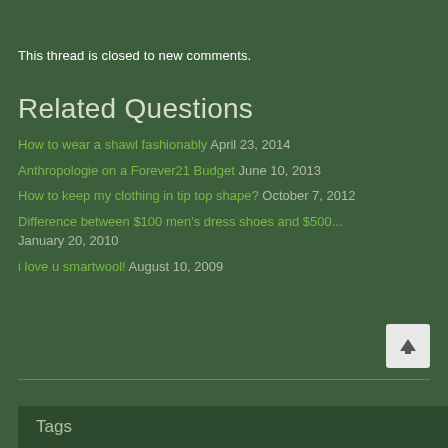This thread is closed to new comments.
Related Questions
How to wear a shawl fashionably April 23, 2014
Anthropologie on a Forever21 Budget June 10, 2013
How to keep my clothing in tip top shape? October 7, 2012
Difference between $100 men's dress shoes and $500... January 20, 2010
i love u smartwool! August 10, 2009
Tags